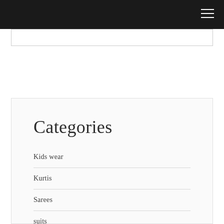Categories
Kids wear
Kurtis
Sarees
suits